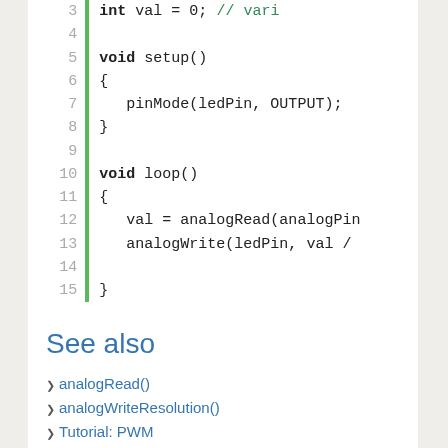[Figure (screenshot): Code editor showing Arduino/86Duino code snippet with line numbers 3-15 and a green vertical bar. Lines show: int val = 0; // vari, void setup() { pinMode(ledPin, OUTPUT); }, void loop() { val = analogRead(analogPin, analogWrite(ledPin, val / }]
See also
❯ analogRead()
❯ analogWriteResolution()
❯ Tutorial: PWM
Language Reference Home
The text of the 86Duino reference is a modification of the Arduino reference, and is